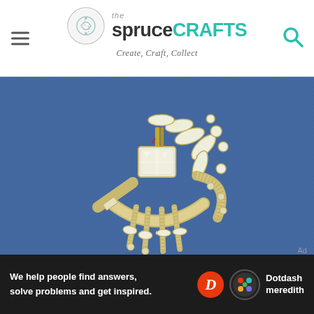the spruceCRAFTS — Create, Craft, Collect
[Figure (photo): Close-up photo of a vintage rhinestone brooch with large clear crystal stones set in gold-tone metal, on a blue fabric background. The brooch features marquise, round, and rectangular cut stones arranged in an ornate Art Deco style.]
We help people find answers, solve problems and get inspired. Dotdash meredith